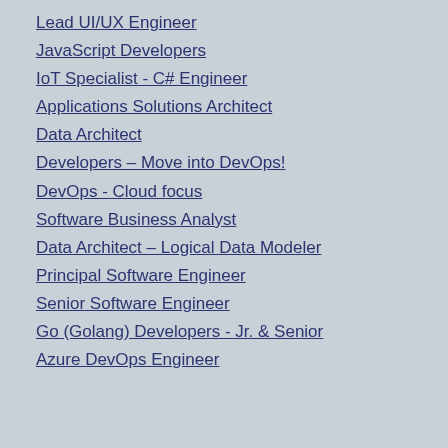Lead UI/UX Engineer
JavaScript Developers
IoT Specialist - C# Engineer
Applications Solutions Architect
Data Architect
Developers – Move into DevOps!
DevOps - Cloud focus
Software Business Analyst
Data Architect – Logical Data Modeler
Principal Software Engineer
Senior Software Engineer
Go (Golang) Developers - Jr. & Senior
Azure DevOps Engineer